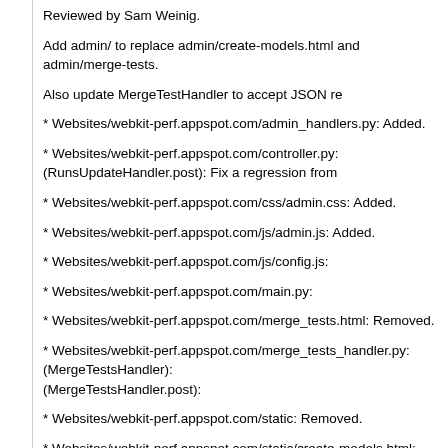Reviewed by Sam Weinig.
Add admin/ to replace admin/create-models.html and admin/merge-tests.
Also update MergeTestHandler to accept JSON re
* Websites/webkit-perf.appspot.com/admin_handlers.py: Added.
* Websites/webkit-perf.appspot.com/controller.py: (RunsUpdateHandler.post): Fix a regression from
* Websites/webkit-perf.appspot.com/css/admin.css: Added.
* Websites/webkit-perf.appspot.com/js/admin.js: Added.
* Websites/webkit-perf.appspot.com/js/config.js:
* Websites/webkit-perf.appspot.com/main.py:
* Websites/webkit-perf.appspot.com/merge_tests.html: Removed.
* Websites/webkit-perf.appspot.com/merge_tests_handler.py: (MergeTestsHandler): (MergeTestsHandler.post):
* Websites/webkit-perf.appspot.com/static: Removed.
* Websites/webkit-perf.appspot.com/static/create-models.html: Removed.